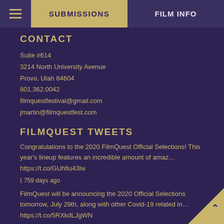SUBMISSIONS | FILM INFO
CONTACT
Suite #614
3214 North University Avenue
Provo, Utah 84604
801.362.0042
filmquestfestival@gmail.com
jmartin@filmquestfest.com
FILMQUEST TWEETS
Congratulations to the 2020 FilmQuest Official Selections! This year's lineup features an incredible amount of amaz… https://t.co/GUhfiu43lw
759 days ago
FilmQuest will be announcing the 2020 Official Selections tomorrow, July 29th, along with other Covid-19 related in… https://t.co/5RXkdLJgWN